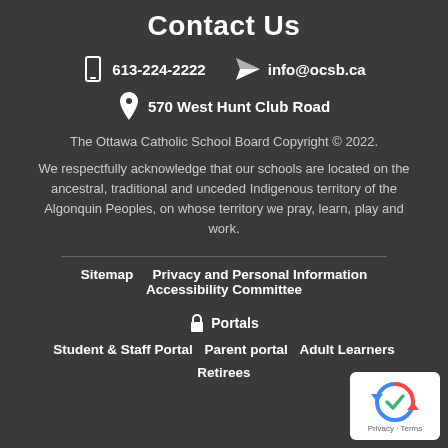Contact Us
613-224-2222   info@ocsb.ca
570 West Hunt Club Road
The Ottawa Catholic School Board Copyright © 2022.
We respectfully acknowledge that our schools are located on the ancestral, traditional and unceded Indigenous territory of the Algonquin Peoples, on whose territory we pray, learn, play and work.
Sitemap   Privacy and Personal Information   Accessibility Committee
Portals
Student & Staff Portal   Parent portal   Adult Learners   Retirees